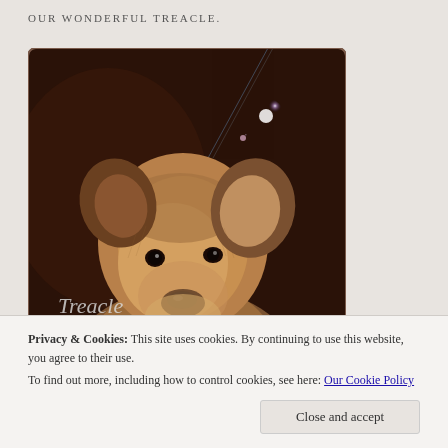OUR WONDERFUL TREACLE.
[Figure (photo): Close-up portrait of a Lakeland/Welsh Terrier dog named Treacle against a dark brown background with light flare effects. The dog has wiry tan/golden fur and alert ears. Text overlay reads 'Treacle Forever' in cursive script at the bottom left of the image.]
Privacy & Cookies: This site uses cookies. By continuing to use this website, you agree to their use.
To find out more, including how to control cookies, see here: Our Cookie Policy
Close and accept